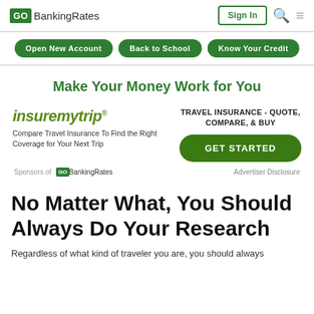GOBankingRates | Sign In
Open New Account | Back to School | Know Your Credit
Make Your Money Work for You
[Figure (infographic): insuremytrip advertisement: logo, text 'Compare Travel Insurance To Find the Right Coverage for Your Next Trip', 'TRAVEL INSURANCE - QUOTE, COMPARE, & BUY', 'GET STARTED' button]
Sponsors of GOBankingRates   Advertiser Disclosure
No Matter What, You Should Always Do Your Research
Regardless of what kind of traveler you are, you should always